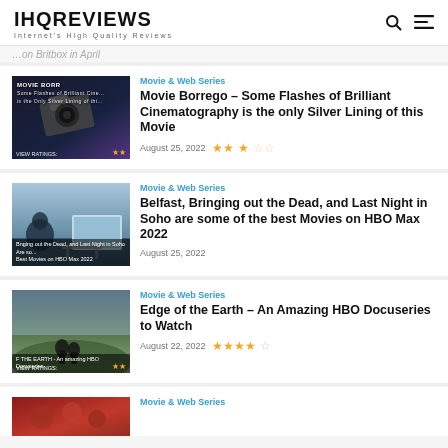IHQREVIEWS — Internet's High Quality Reviews
[Figure (photo): Movie Borrego article thumbnail with camera equipment and dark cinematic overlay]
Movie & Web Series
Movie Borrego – Some Flashes of Brilliant Cinematography is the only Silver Lining of this Movie
August 25, 2022 — Rating: 2.5/5 stars
[Figure (photo): Belfast HBO Max article thumbnail with living room TV scene]
Movie & Web Series
Belfast, Bringing out the Dead, and Last Night in Soho are some of the best Movies on HBO Max 2022
August 25, 2022
[Figure (photo): Edge of the Earth HBO Docuseries thumbnail with couple on cliffside]
Movie & Web Series
Edge of the Earth – An Amazing HBO Docuseries to Watch
August 22, 2022 — Rating: 4/5 stars
[Figure (photo): Partial fourth article thumbnail, partially cut off at bottom]
Movie & Web Series